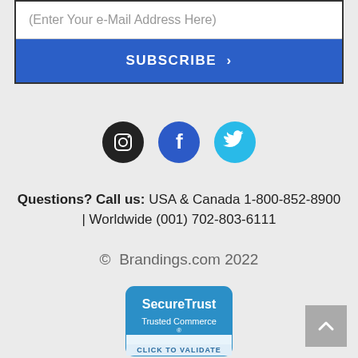(Enter Your e-Mail Address Here)
SUBSCRIBE >
[Figure (infographic): Social media icons: Instagram (black circle), Facebook (blue circle), Twitter (light blue circle)]
Questions? Call us: USA & Canada 1-800-852-8900 | Worldwide (001) 702-803-6111
© Brandings.com 2022
[Figure (logo): SecureTrust Trusted Commerce CLICK TO VALIDATE badge]
[Figure (other): Scroll to top button with upward chevron arrow]